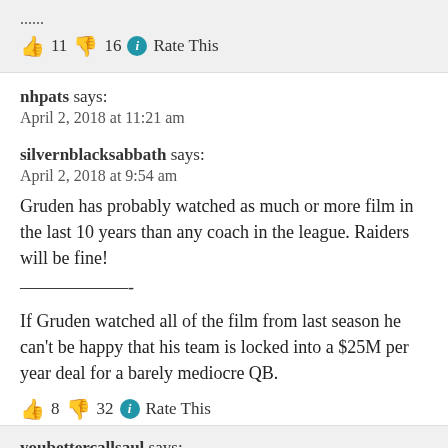👍 11 👎 16 ℹ Rate This
nhpats says:
April 2, 2018 at 11:21 am
silvernblacksabbath says:
April 2, 2018 at 9:54 am
Gruden has probably watched as much or more film in the last 10 years than any coach in the league. Raiders will be fine!
——————-
If Gruden watched all of the film from last season he can't be happy that his team is locked into a $25M per year deal for a barely mediocre QB.
👍 8 👎 32 ℹ Rate This
youbettercallsaul says: